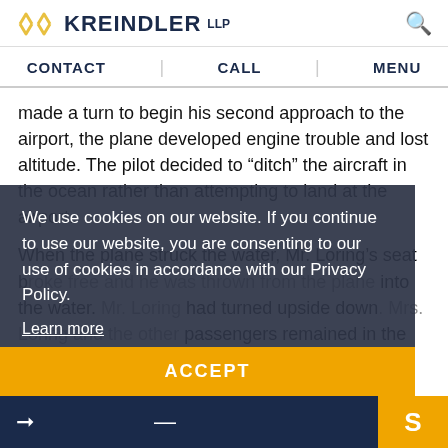KREINDLER LLP
CONTACT   CALL   MENU
made a turn to begin his second approach to the airport, the plane developed engine trouble and lost altitude. The pilot decided to “ditch” the aircraft in the ocean rather than attempting to land at the airport.
When the plane struck the water, Mr. Loring’s seat b[...] d from the p[...] into the water. V[...] t had turned u[...] d. Mrs. Loring and th[...] passengers remained in the plane after impact and were able to exit the plane and stay
We use cookies on our website. If you continue to use our website, you are consenting to our use of cookies in accordance with our Privacy Policy.
Learn more
ACCEPT